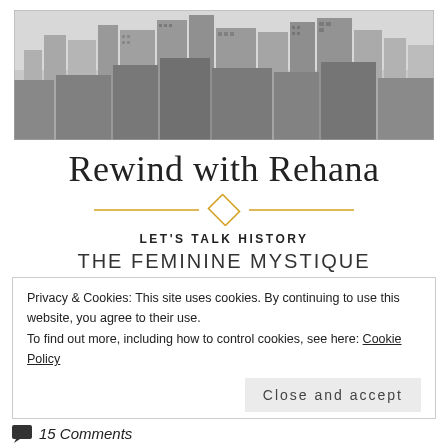[Figure (photo): Black and white aerial photo of a city skyline with tall skyscrapers]
Rewind with Rehana
[Figure (illustration): Decorative horizontal divider with orange lines and a diamond shape in the center]
LET'S TALK HISTORY
THE FEMININE MYSTIQUE
Privacy & Cookies: This site uses cookies. By continuing to use this website, you agree to their use.
To find out more, including how to control cookies, see here: Cookie Policy
Close and accept
15 Comments